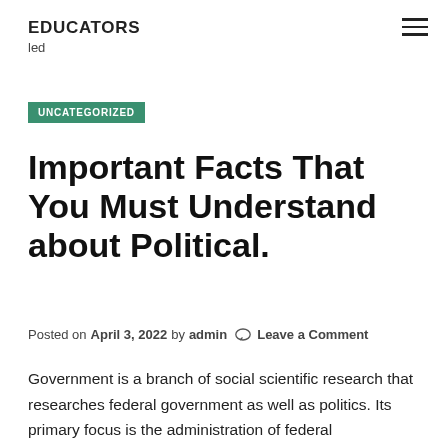EDUCATORS
led
UNCATEGORIZED
Important Facts That You Must Understand about Political.
Posted on April 3, 2022 by admin  Leave a Comment
Government is a branch of social scientific research that researches federal government as well as politics. Its primary focus is the administration of federal governments on various levels, including the neighborhood, state, nationwide, as well as global. Its objective is to provide understanding of public life as well